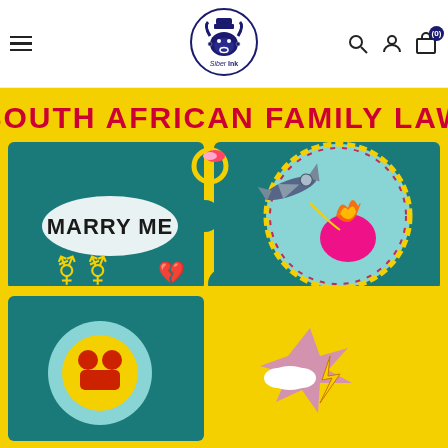[Figure (logo): Siber Ink publisher logo — bull in a circle with text 'Siber Ink' below]
[Figure (illustration): Book cover of 'South African Family Law' showing colorful illustrated puzzle pieces with marriage, gender symbols, broken heart, airplane pulling a flaming heart, and family scenes on a yellow background with teal puzzle pieces]